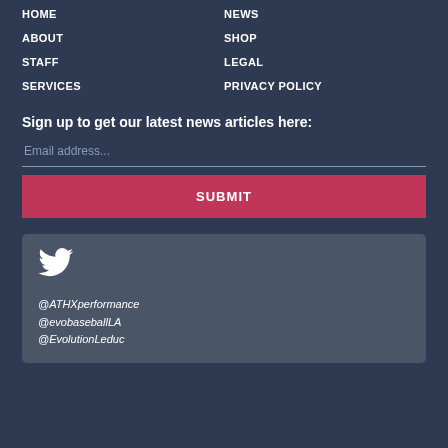HOME
ABOUT
STAFF
SERVICES
NEWS
SHOP
LEGAL
PRIVACY POLICY
Sign up to get our latest news articles here:
Email address...
SUBMIT
[Figure (logo): Twitter bird icon]
@ATHXperformance
@evobaseballLA
@EvolutionLeduc